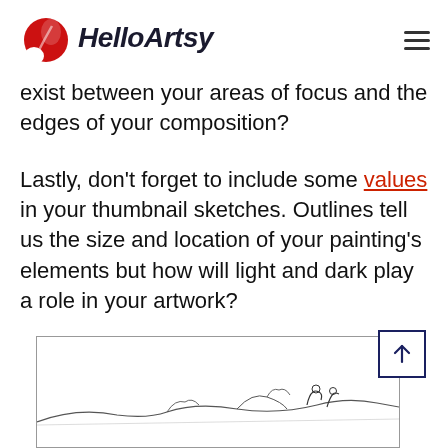HelloArtsy
exist between your areas of focus and the edges of your composition?
Lastly, don't forget to include some values in your thumbnail sketches. Outlines tell us the size and location of your painting's elements but how will light and dark play a role in your artwork?
[Figure (illustration): A sketch/line drawing of a landscape scene with figures, shown partially at the bottom of the page, inside a bordered rectangle. A back-to-top button with an upward arrow is overlaid in the top-right corner of the image area.]